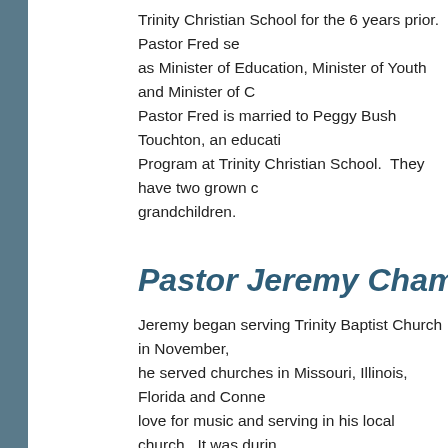Trinity Christian School for the 6 years prior. Pastor Fred se as Minister of Education, Minister of Youth and Minister of C Pastor Fred is married to Peggy Bush Touchton, an educati Program at Trinity Christian School.  They have two grown c grandchildren.
Pastor Jeremy Champion, W
Jeremy began serving Trinity Baptist Church in November, he served churches in Missouri, Illinois, Florida and Conne love for music and serving in his local church.  It was durin felt the Lord leading him into vocational ministry.  As such, h Baptist University with a Bachelor of Music degree in Chur attending MoBap, Jeremy met his wife, Mechelle.  Soon aft began serving together in ministry.  Feeling led to continue his Master of Arts degree in Worship Studies (leadership co While Jeremy loves the role God has given him in ministry